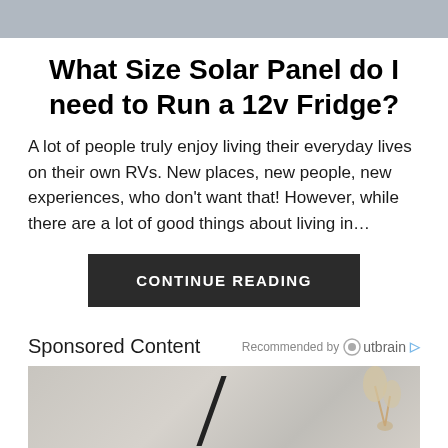[Figure (photo): Top portion of an image, partially cropped, showing a light-colored surface or interior scene]
What Size Solar Panel do I need to Run a 12v Fridge?
A lot of people truly enjoy living their everyday lives on their own RVs. New places, new people, new experiences, who don't want that! However, while there are a lot of good things about living in...
CONTINUE READING
Sponsored Content
Recommended by Outbrain
[Figure (photo): Bottom portion showing an interior room scene with a lamp and decorative plants, partially cropped]